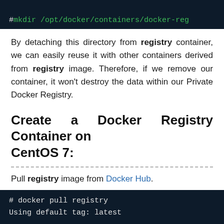[Figure (screenshot): Dark terminal code block showing: # mkdir /opt/docker/containers/docker-reg (truncated)]
By detaching this directory from registry container, we can easily reuse it with other containers derived from registry image. Therefore, if we remove our container, it won't destroy the data within our Private Docker Registry.
Create a Docker Registry Container on CentOS 7:
Pull registry image from Docker Hub.
[Figure (screenshot): Dark terminal code block showing: # docker pull registry / Using default tag: latest]